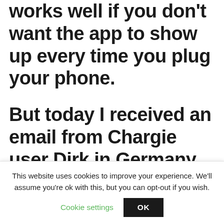works well if you don't want the app to show up every time you plug your phone.
But today I received an email from Chargie user Dirk in Germany who found out another way of starting the Chargie app
This website uses cookies to improve your experience. We'll assume you're ok with this, but you can opt-out if you wish. Cookie settings OK